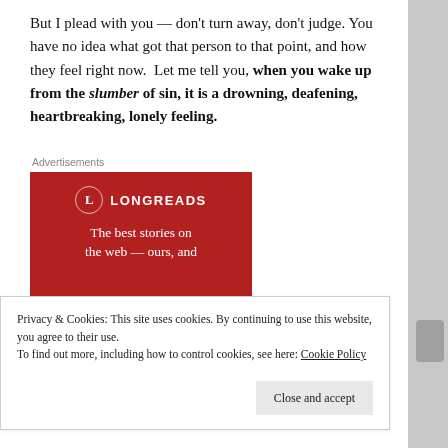But I plead with you — don't turn away, don't judge. You have no idea what got that person to that point, and how they feel right now.  Let me tell you, when you wake up from the slumber of sin, it is a drowning, deafening, heartbreaking, lonely feeling.
Advertisements
[Figure (other): Longreads advertisement banner with red background, circular L logo, and text 'The best stories on the web — ours, and']
Privacy & Cookies: This site uses cookies. By continuing to use this website, you agree to their use.
To find out more, including how to control cookies, see here: Cookie Policy